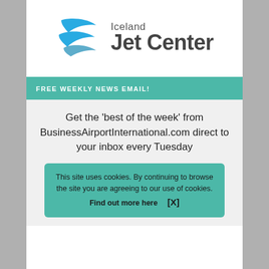[Figure (logo): Iceland Jet Center logo with two blue swoosh/wing shapes on the left and the text 'Iceland' above 'Jet Center' on the right in dark gray]
FREE WEEKLY NEWS EMAIL!
Get the 'best of the week' from BusinessAirportInternational.com direct to your inbox every Tuesday
This site uses cookies. By continuing to browse the site you are agreeing to our use of cookies. Find out more here   [X]